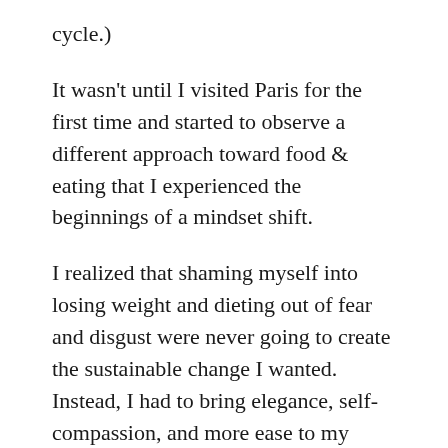cycle.)
It wasn't until I visited Paris for the first time and started to observe a different approach toward food & eating that I experienced the beginnings of a mindset shift.
I realized that shaming myself into losing weight and dieting out of fear and disgust were never going to create the sustainable change I wanted. Instead, I had to bring elegance, self-compassion, and more ease to my weight loss journey.
In this guide, I'll share my first steps...